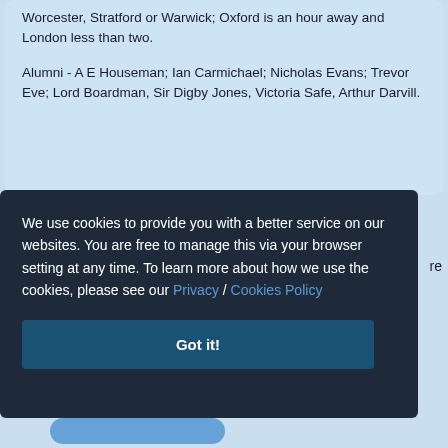Worcester, Stratford or Warwick; Oxford is an hour away and London less than two.
Alumni - A E Houseman; Ian Carmichael; Nicholas Evans; Trevor Eve; Lord Boardman, Sir Digby Jones, Victoria Safe, Arthur Darvill.
We use cookies to provide you with a better service on our websites. You are free to manage this via your browser setting at any time. To learn more about how we use the cookies, please see our Privacy / Cookies Policy
Got it!